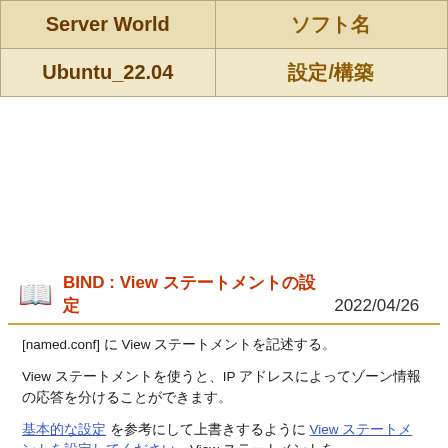| Server World | ソフト名 |
| --- | --- |
| Ubuntu_22.04 | 設定/構築 |
BIND : View ステートメントの設定　2022/04/26
[named.conf] に View ステートメントを記述する。
View ステートメントを使うと、IP アドレスによってゾーン情報の応答を分けることができます。
基本的な設定 を参考にして上書きするように View ステートメントを設定してください。